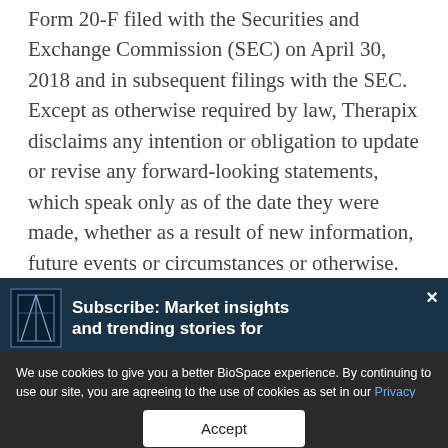Form 20-F filed with the Securities and Exchange Commission (SEC) on April 30, 2018 and in subsequent filings with the SEC. Except as otherwise required by law, Therapix disclaims any intention or obligation to update or revise any forward-looking statements, which speak only as of the date they were made, whether as a result of new information, future events or circumstances or otherwise.
[Figure (screenshot): Subscribe overlay banner on a dark navy background with a publication icon, bold title 'Subscribe: Market insights and trending stories for...' and a close X button]
We use cookies to give you a better BioSpace experience. By continuing to use our site, you are agreeing to the use of cookies as set in our Privacy Policy.
Accept